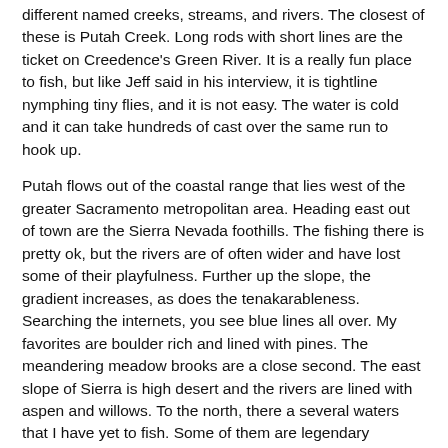different named creeks, streams, and rivers. The closest of these is Putah Creek. Long rods with short lines are the ticket on Creedence's Green River. It is a really fun place to fish, but like Jeff said in his interview, it is tightline nymphing tiny flies, and it is not easy. The water is cold and it can take hundreds of cast over the same run to hook up.
Putah flows out of the coastal range that lies west of the greater Sacramento metropolitan area. Heading east out of town are the Sierra Nevada foothills. The fishing there is pretty ok, but the rivers are of often wider and have lost some of their playfulness. Further up the slope, the gradient increases, as does the tenakarableness. Searching the internets, you see blue lines all over. My favorites are boulder rich and lined with pines. The meandering meadow brooks are a close second. The east slope of Sierra is high desert and the rivers are lined with aspen and willows. To the north, there a several waters that I have yet to fish. Some of them are legendary steelhead and salmon water, but also hold ancient strains of trout. I am hoping to explore that area soonly.